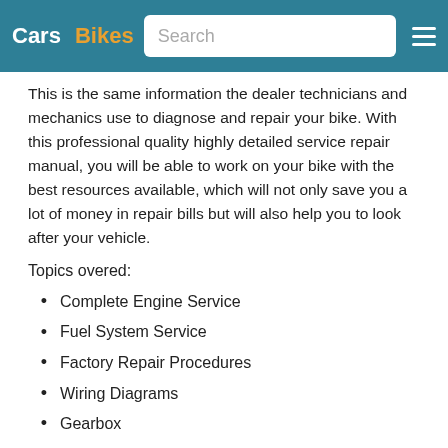Cars  Bikes  Search
This is the same information the dealer technicians and mechanics use to diagnose and repair your bike. With this professional quality highly detailed service repair manual, you will be able to work on your bike with the best resources available, which will not only save you a lot of money in repair bills but will also help you to look after your vehicle.
Topics overed:
Complete Engine Service
Fuel System Service
Factory Repair Procedures
Wiring Diagrams
Gearbox
Exhaust System
Suspension